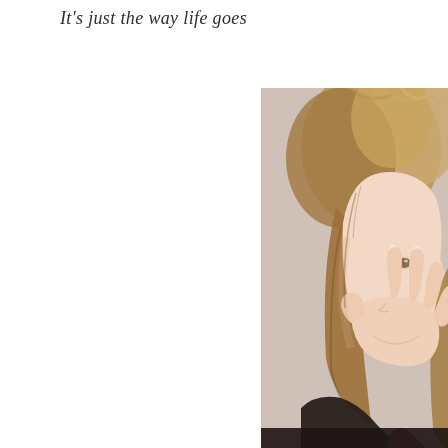It's just the way life goes
[Figure (photo): Portrait photo of a young woman with tousled blonde-brown bob hair, laughing and covering her mouth with her hand, wearing a dark top, shot against a light beige background. The photo occupies the right side of the page, roughly from the top-right to the bottom-right, cropped at the edges.]